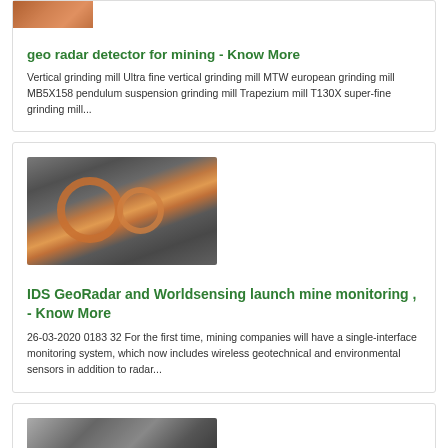[Figure (photo): Partial view of industrial/mining equipment image at top of page]
geo radar detector for mining - Know More
Vertical grinding mill Ultra fine vertical grinding mill MTW european grinding mill MB5X158 pendulum suspension grinding mill Trapezium mill T130X super-fine grinding mill...
[Figure (photo): Heavy industrial machine components, grey metal parts with orange-colored internal components, likely a mining crusher or mill]
IDS GeoRadar and Worldsensing launch mine monitoring , - Know More
26-03-2020 0183 32 For the first time, mining companies will have a single-interface monitoring system, which now includes wireless geotechnical and environmental sensors in addition to radar...
[Figure (photo): Partial view of industrial equipment at bottom of page]